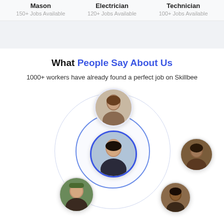Mason
150+ Jobs Available
Electrician
120+ Jobs Available
Technician
100+ Jobs Available
What People Say About Us
1000+ workers have already found a perfect job on Skillbee
[Figure (infographic): A circular network diagram showing profile photos of workers arranged in concentric rings. One central person (young man in dark jacket) is shown in the center with a blue ring, one person at top (young man), one on right (older man), one at bottom-left (person with hat), and one at bottom-right (person). The arrangement suggests a community/network of workers.]